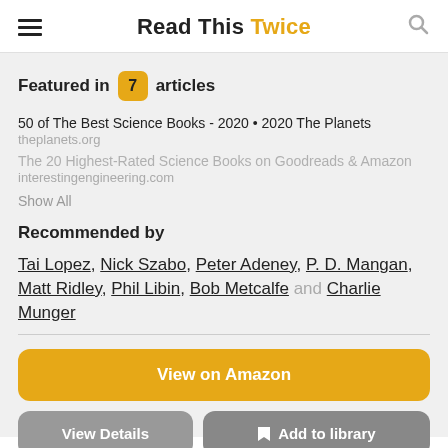Read This Twice
Featured in 7 articles
50 of The Best Science Books - 2020 • 2020 The Planets
theplanets.org
The 20 Highest-Rated Science Books on Goodreads & Amazon
interestingengineering.com
Show All
Recommended by
Tai Lopez, Nick Szabo, Peter Adeney, P. D. Mangan, Matt Ridley, Phil Libin, Bob Metcalfe and Charlie Munger